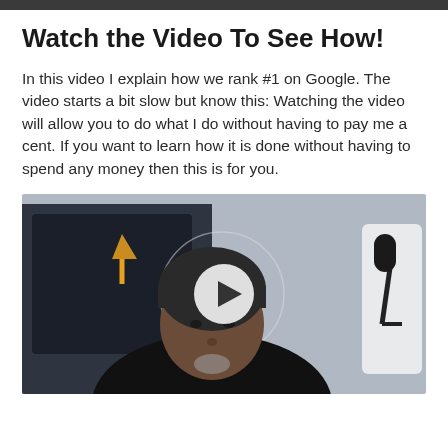Watch the Video To See How!
In this video I explain how we rank #1 on Google. The video starts a bit slow but know this: Watching the video will allow you to do what I do without having to pay me a cent. If you want to learn how it is done without having to spend any money then this is for you.
[Figure (photo): Video thumbnail showing a man wearing a black beanie and black shirt seated in front of a microphone and monitor setup, with a play button overlay in the center.]